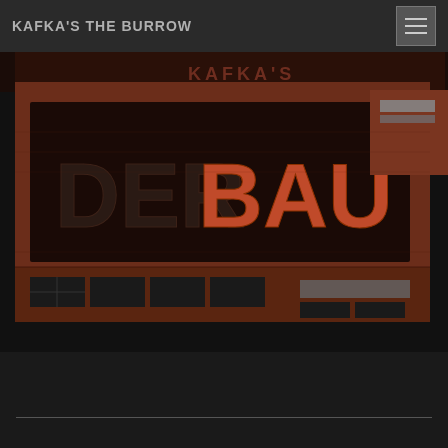KAFKA'S THE BURROW
[Figure (illustration): 3D rendered image of a dark brick building with large raised letters 'DER BAU' on the facade, with 'KAFKA'S' text partially visible at the top. The building has a brutalist architectural style with dark windows and reddish-brown brick texture. The letters DER appear in dark/charcoal color on the left, and BAU appears in reddish-orange raised lettering on the right side.]